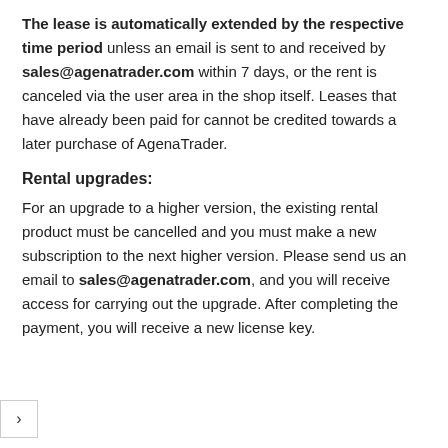The lease is automatically extended by the respective time period unless an email is sent to and received by sales@agenatrader.com within 7 days, or the rent is canceled via the user area in the shop itself. Leases that have already been paid for cannot be credited towards a later purchase of AgenaTrader.
Rental upgrades:
For an upgrade to a higher version, the existing rental product must be cancelled and you must make a new subscription to the next higher version. Please send us an email to sales@agenatrader.com, and you will receive access for carrying out the upgrade. After completing the payment, you will receive a new license key.